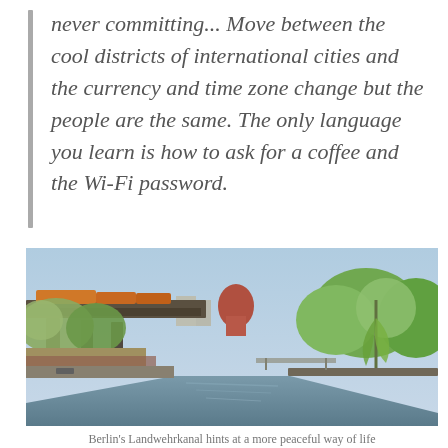never committing... Move between the cool districts of international cities and the currency and time zone change but the people are the same. The only language you learn is how to ask for a coffee and the Wi-Fi password.
[Figure (photo): A canal scene in Berlin showing the Landwehrkanal with a railway bridge on the left, lush green trees lining both banks, a red-brick domed building visible in the background, and calm water reflecting the surroundings.]
Berlin's Landwehrkanal hints at a more peaceful way of life